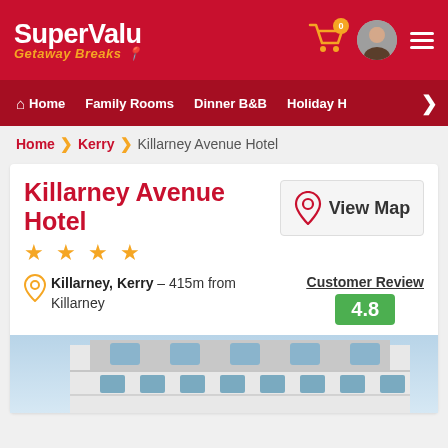SuperValu Getaway Breaks
[Figure (screenshot): Navigation bar with Home, Family Rooms, Dinner B&B, Holiday H menu items]
Home > Kerry > Killarney Avenue Hotel
Killarney Avenue Hotel
[Figure (other): View Map button with location pin icon]
★ ★ ★ ★
Killarney, Kerry – 415m from Killarney
Customer Review 4.8
[Figure (photo): Exterior photo of Killarney Avenue Hotel building with blue sky]